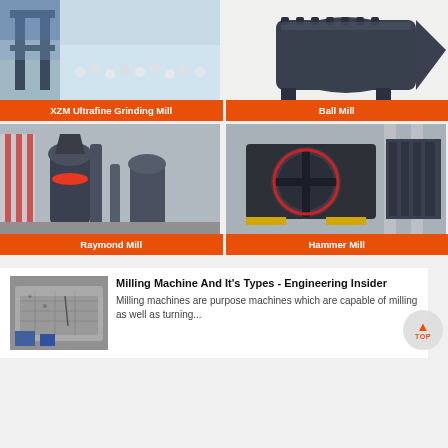[Figure (photo): XZM Ultrafine Grinding Mill machinery in factory setting with grinding balls]
XZM Ultrafine Grinding Mill
[Figure (photo): Ball Mill – large industrial cylindrical grinding machine]
Ball Mill
[Figure (photo): Raymond Mill – vertical grinding mill in factory]
Raymond Mill
[Figure (photo): Hammer Mill – heavy industrial crushing/milling machine in factory]
Hammer Mill
[Figure (photo): Milling machine thumbnail image showing milling equipment]
Milling Machine And It's Types - Engineering Insider
Milling machines are purpose machines which are capable of milling as well as turning...